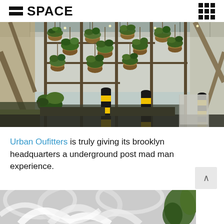SPACE
[Figure (photo): Interior of Urban Outfitters Brooklyn headquarters showing a greenhouse-style space with hanging plant baskets on metal scaffolding frames, black and yellow striped bollards, and industrial glass ceiling with string lights]
Urban Oufitters is truly giving its brooklyn headquarters a underground post mad man experience.
[Figure (photo): Partial view of another interior space, appears to show white curved architectural elements and green plants]